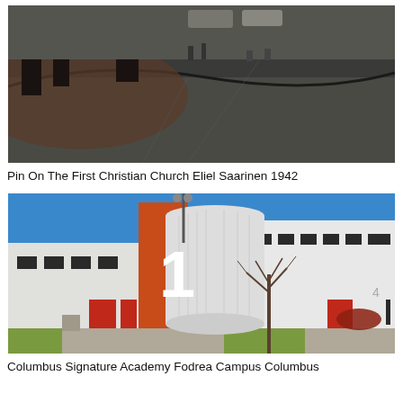[Figure (photo): Aerial/ground-level view of a dark plaza or courtyard with curved concrete paths, trees, and pedestrians in background. Dark toned photograph.]
Pin On The First Christian Church Eliel Saarinen 1942
[Figure (photo): Exterior of Columbus Signature Academy Fodrea Campus, Columbus. White modern building with orange accent panel and large numeral '1', red entry doors, bare tree in foreground, blue sky.]
Columbus Signature Academy Fodrea Campus Columbus